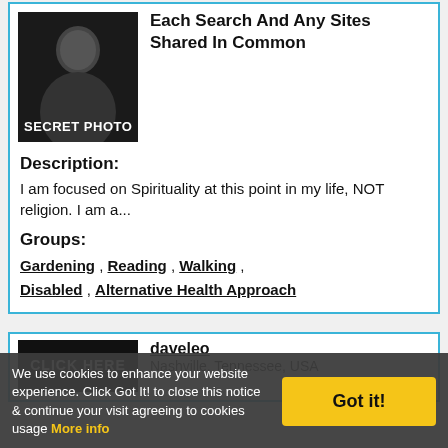[Figure (photo): Dark silhouette photo of a person with 'SECRET PHOTO' label at bottom left]
Each Search And Any Sites Shared In Common
Description:
I am focused on Spirituality at this point in my life, NOT religion. I am a...
Groups:
Gardening , Reading , Walking , Disabled , Alternative Health Approach
[Figure (screenshot): Black box with 'CLICK HERE' text]
daveleo
Nashville, Tennessee, USA
We use cookies to enhance your website experience. Click Got It! to close this notice & continue your visit agreeing to cookies usage More info